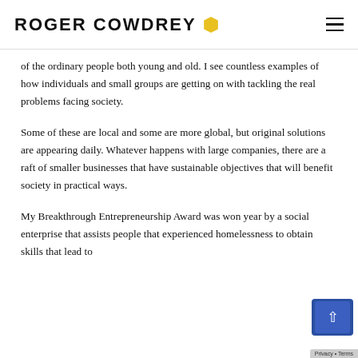ROGER COWDREY
of the ordinary people both young and old. I see countless examples of how individuals and small groups are getting on with tackling the real problems facing society.
Some of these are local and some are more global, but original solutions are appearing daily. Whatever happens with large companies, there are a raft of smaller businesses that have sustainable objectives that will benefit society in practical ways.
My Breakthrough Entrepreneurship Award was won year by a social enterprise that assists people that experienced homelessness to obtain skills that lead to